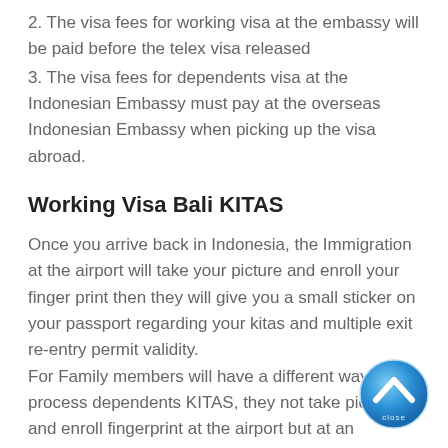2. The visa fees for working visa at the embassy will be paid before the telex visa released
3. The visa fees for dependents visa at the Indonesian Embassy must pay at the overseas Indonesian Embassy when picking up the visa abroad.
Working Visa Bali KITAS
Once you arrive back in Indonesia, the Immigration at the airport will take your picture and enroll your finger print then they will give you a small sticker on your passport regarding your kitas and multiple exit re-entry permit validity.
For Family members will have a different way to process dependents KITAS, they not take picture and enroll fingerprint at the airport but at an Immigration office close to your residence. They will not be able to leave until KITAS